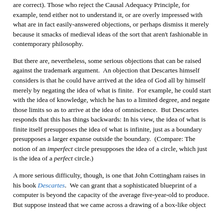are correct). Those who reject the Causal Adequacy Principle, for example, tend either not to understand it, or are overly impressed with what are in fact easily-answered objections, or perhaps dismiss it merely because it smacks of medieval ideas of the sort that aren't fashionable in contemporary philosophy.
But there are, nevertheless, some serious objections that can be raised against the trademark argument. An objection that Descartes himself considers is that he could have arrived at the idea of God all by himself merely by negating the idea of what is finite. For example, he could start with the idea of knowledge, which he has to a limited degree, and negate those limits so as to arrive at the idea of omniscience. But Descartes responds that this has things backwards: In his view, the idea of what is finite itself presupposes the idea of what is infinite, just as a boundary presupposes a larger expanse outside the boundary. (Compare: The notion of an imperfect circle presupposes the idea of a circle, which just is the idea of a perfect circle.)
A more serious difficulty, though, is one that John Cottingham raises in his book Descartes. We can grant that a sophisticated blueprint of a computer is beyond the capacity of the average five-year-old to produce. But suppose instead that we came across a drawing of a box-like object